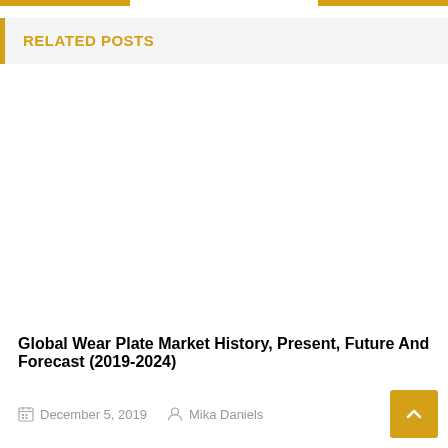RELATED POSTS
Global Wear Plate Market History, Present, Future And Forecast (2019-2024)
December 5, 2019   Mika Daniels